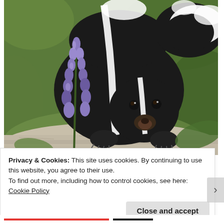[Figure (photo): A baby skunk with black fur and white stripes, standing on a log surrounded by purple lupine flowers and green foliage.]
Privacy & Cookies: This site uses cookies. By continuing to use this website, you agree to their use.
To find out more, including how to control cookies, see here: Cookie Policy
Close and accept